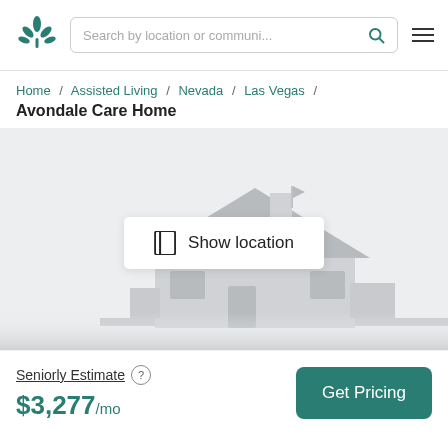Search by location or communi...
Home / Assisted Living / Nevada / Las Vegas / Avondale Care Home
Avondale Care Home
[Figure (illustration): Gray illustrated house placeholder image with a white 'Show location' button overlay featuring a map/book icon]
Seniorly Estimate  $3,277/mo
Get Pricing